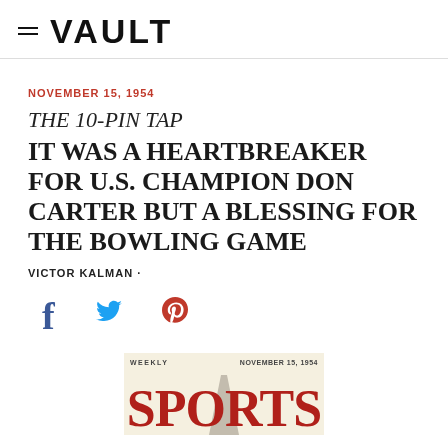≡ VAULT
NOVEMBER 15, 1954
THE 10-PIN TAP
IT WAS A HEARTBREAKER FOR U.S. CHAMPION DON CARTER BUT A BLESSING FOR THE BOWLING GAME
VICTOR KALMAN ·
[Figure (illustration): Social media share icons: Facebook (f), Twitter (bird), Pinterest (P) in blue and red colors]
[Figure (photo): Bottom portion of a Sports Illustrated Weekly magazine cover dated November 15, 1954, with large red 'SPORTS' masthead text on cream/tan background]